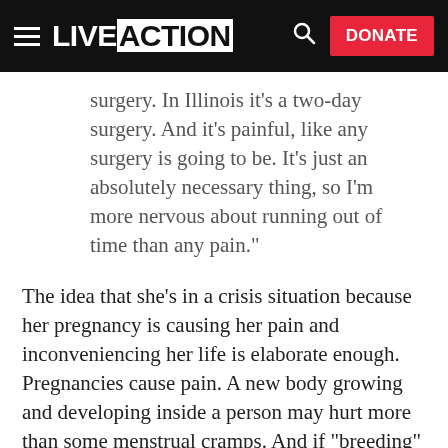LIVE ACTION — DONATE
surgery. In Illinois it’s a two-day surgery. And it’s painful, like any surgery is going to be. It’s just an absolutely necessary thing, so I’m more nervous about running out of time than any pain.”
The idea that she’s in a crisis situation because her pregnancy is causing her pain and inconveniencing her life is elaborate enough. Pregnancies cause pain. A new body growing and developing inside a person may hurt more than some menstrual cramps. And if “breeding” is that repulsive, people have a choice not to. Bailey makes no claims of abuse or rape to garner sympathy; she says flat out she doesn’t want to be a mom and wants people to give her money to abort